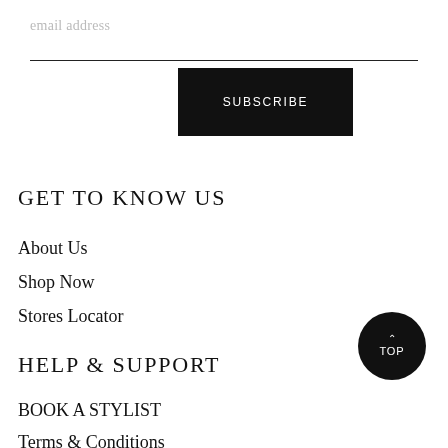email address
SUBSCRIBE
GET TO KNOW US
About Us
Shop Now
Stores Locator
HELP & SUPPORT
BOOK A STYLIST
Terms & Conditions